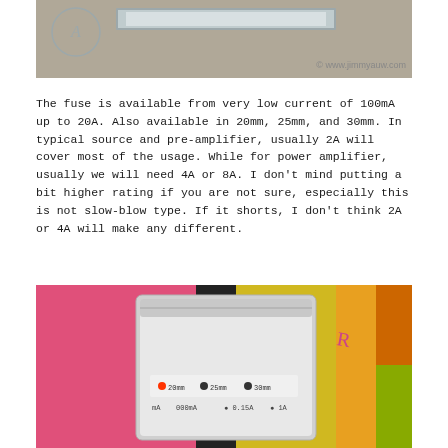[Figure (photo): A photo of fuse/metal strip on a grey surface with watermark '© www.jimmyauw.com' and a circular logo in the top-left corner.]
The fuse is available from very low current of 100mA up to 20A. Also available in 20mm, 25mm, and 30mm. In typical source and pre-amplifier, usually 2A will cover most of the usage. While for power amplifier, usually we will need 4A or 8A. I don't mind putting a bit higher rating if you are not sure, especially this is not slow-blow type. If it shorts, I don't think 2A or 4A will make any different.
[Figure (photo): A photo of a silver/grey resealable bag containing fuses, placed on a pink and black background with colorful boxes. Text on the bag lists: 20mm, 25mm, 30mm options, and fuse ratings like mA, 000mA, 0.15A, 1A.]